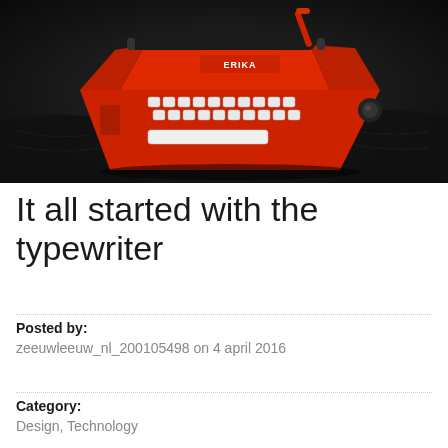[Figure (photo): A red vintage typewriter (ERIKA brand) sitting on a dark leather surface, photographed from a slightly elevated angle. The typewriter is bright red/orange with white keys and a black carriage, set against a very dark background.]
It all started with the typewriter
Posted by:
zeeuwleeuw_nl_200105498 on 4 april 2016
Category:
Design, Technology